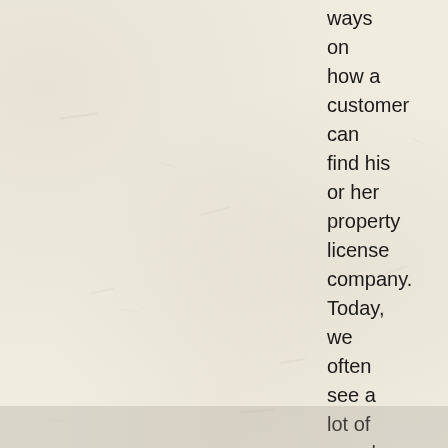ways on how a customer can find his or her property license company. Today, we often see a lot of people who likes to hire the best property